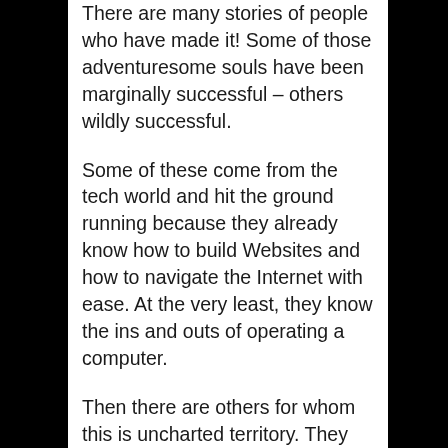There are many stories of people who have made it! Some of those adventuresome souls have been marginally successful – others wildly successful.
Some of these come from the tech world and hit the ground running because they already know how to build Websites and how to navigate the Internet with ease. At the very least, they know the ins and outs of operating a computer.
Then there are others for whom this is uncharted territory. They are forced to climb a very steep learning curve; but,